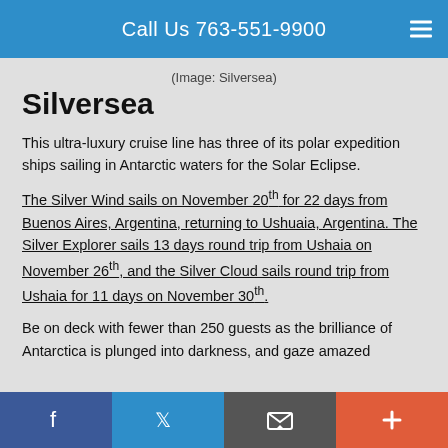Call Us 763-551-9900
(Image: Silversea)
Silversea
This ultra-luxury cruise line has three of its polar expedition ships sailing in Antarctic waters for the Solar Eclipse.
The Silver Wind sails on November 20th for 22 days from Buenos Aires, Argentina, returning to Ushuaia, Argentina. The Silver Explorer sails 13 days round trip from Ushaia on November 26th, and the Silver Cloud sails round trip from Ushaia for 11 days on November 30th.
Be on deck with fewer than 250 guests as the brilliance of Antarctica is plunged into darkness, and gaze amazed
Facebook  Twitter  Email  +